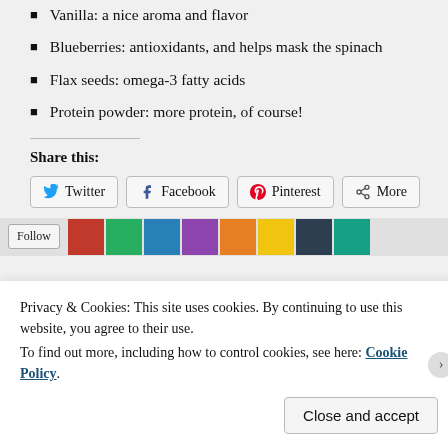Vanilla: a nice aroma and flavor
Blueberries: antioxidants, and helps mask the spinach
Flax seeds: omega-3 fatty acids
Protein powder: more protein, of course!
Share this:
[Figure (screenshot): Row of social share buttons: Twitter, Facebook, Pinterest, More]
[Figure (screenshot): Follow strip with thumbnails of blog posts]
Privacy & Cookies: This site uses cookies. By continuing to use this website, you agree to their use.
To find out more, including how to control cookies, see here: Cookie Policy
Close and accept